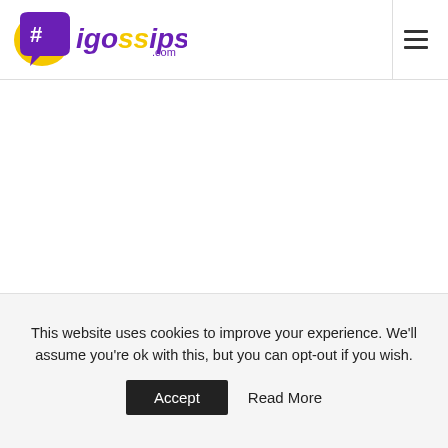#igossips.com
This website uses cookies to improve your experience. We'll assume you're ok with this, but you can opt-out if you wish.
Accept   Read More